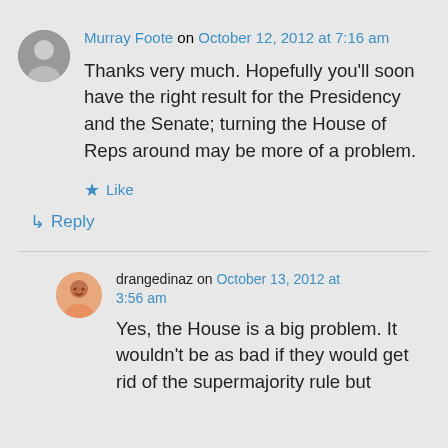Murray Foote on October 12, 2012 at 7:16 am
Thanks very much. Hopefully you'll soon have the right result for the Presidency and the Senate; turning the House of Reps around may be more of a problem.
Like
Reply
drangedinaz on October 13, 2012 at 3:56 am
Yes, the House is a big problem. It wouldn't be as bad if they would get rid of the supermajority rule but